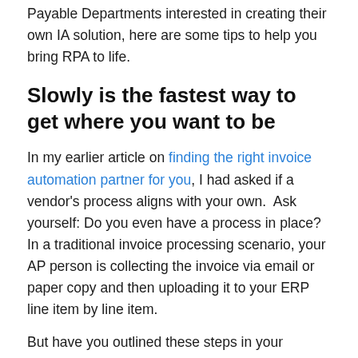Payable Departments interested in creating their own IA solution, here are some tips to help you bring RPA to life.
Slowly is the fastest way to get where you want to be
In my earlier article on finding the right invoice automation partner for you, I had asked if a vendor's process aligns with your own.  Ask yourself: Do you even have a process in place? In a traditional invoice processing scenario, your AP person is collecting the invoice via email or paper copy and then uploading it to your ERP line item by line item.
But have you outlined these steps in your documentation?
Any new solution implementation has its own checklist of tasks that need to be run through in sequential order. In the discovery phase, you might need to put on the brakes and audit the existing process and refine it for efficiency.